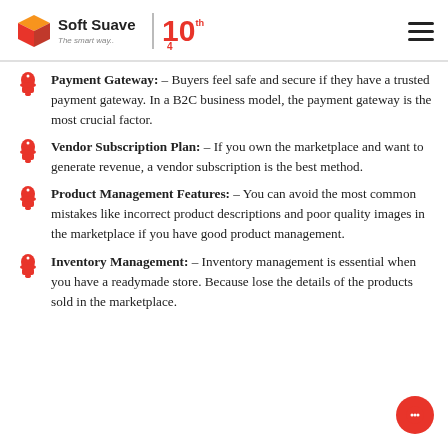Soft Suave – The smart way. | 10th
Payment Gateway: – Buyers feel safe and secure if they have a trusted payment gateway. In a B2C business model, the payment gateway is the most crucial factor.
Vendor Subscription Plan: – If you own the marketplace and want to generate revenue, a vendor subscription is the best method.
Product Management Features: – You can avoid the most common mistakes like incorrect product descriptions and poor quality images in the marketplace if you have good product management.
Inventory Management: – Inventory management is essential when you have a readymade store. Because lose the details of the products sold in the marketplace.